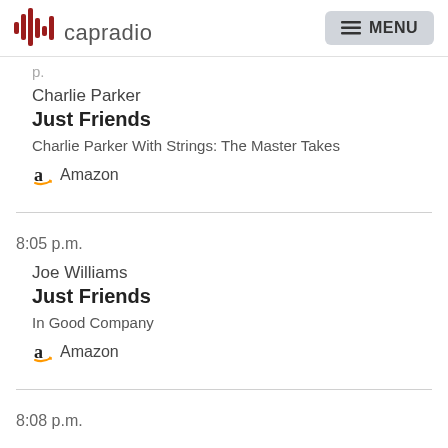capradio | MENU
Charlie Parker
Just Friends
Charlie Parker With Strings: The Master Takes
Amazon
8:05 p.m.
Joe Williams
Just Friends
In Good Company
Amazon
8:08 p.m.